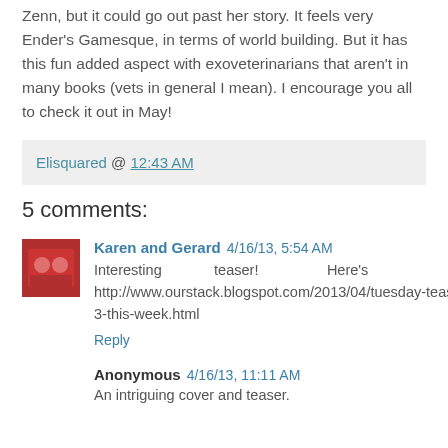Zenn, but it could go out past her story.  It feels very Ender's Gamesque, in terms of world building.  But it has this fun added aspect with exoveterinarians that aren't in many books (vets in general I mean).  I encourage you all to check it out in May!
Elisquared @ 12:43 AM
5 comments:
Karen and Gerard  4/16/13, 5:54 AM
Interesting teaser!  Here's ours: http://www.ourstack.blogspot.com/2013/04/tuesday-teasers-3-this-week.html
Reply
Anonymous  4/16/13, 11:11 AM
An intriguing cover and teaser.